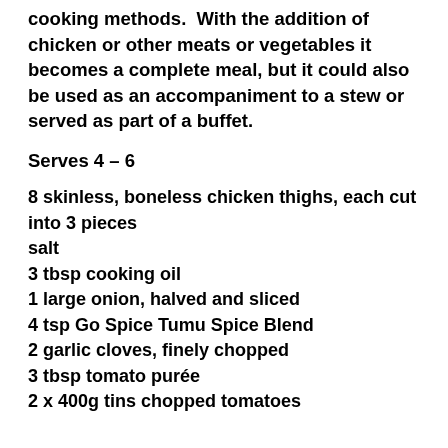cooking methods.  With the addition of chicken or other meats or vegetables it becomes a complete meal, but it could also be used as an accompaniment to a stew or served as part of a buffet.
Serves 4 – 6
8 skinless, boneless chicken thighs, each cut into 3 pieces
salt
3 tbsp cooking oil
1 large onion, halved and sliced
4 tsp Go Spice Tumu Spice Blend
2 garlic cloves, finely chopped
3 tbsp tomato purée
2 x 400g tins chopped tomatoes